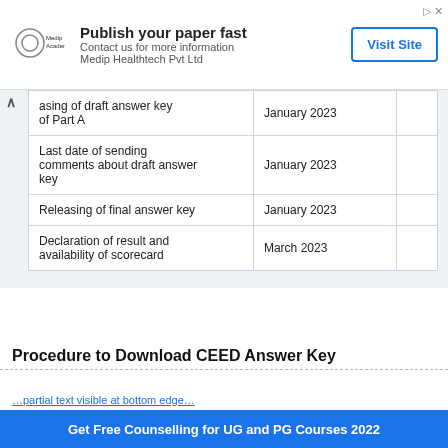[Figure (other): Advertisement banner: Medip Academy logo, 'Publish your paper fast', 'Contact us for more information Medip Healthtech Pvt Ltd', 'Visit Site' button]
| asing of draft answer key of Part A | January 2023 |  |
| Last date of sending comments about draft answer key | January 2023 |  |
| Releasing of final answer key | January 2023 |  |
| Declaration of result and availability of scorecard | March 2023 |  |
Procedure to Download CEED Answer Key
…partial link text visible…
Get Free Counselling for UG and PG Courses 2022